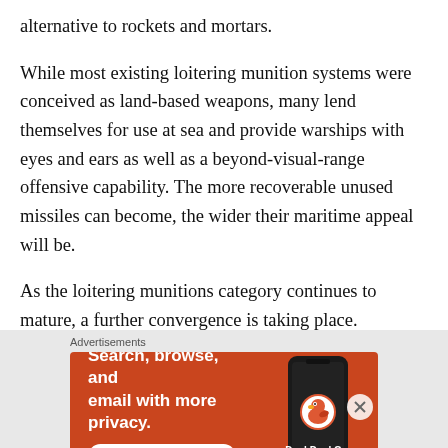alternative to rockets and mortars.
While most existing loitering munition systems were conceived as land-based weapons, many lend themselves for use at sea and provide warships with eyes and ears as well as a beyond-visual-range offensive capability. The more recoverable unused missiles can become, the wider their maritime appeal will be.
As the loitering munitions category continues to mature, a further convergence is taking place.
[Figure (other): DuckDuckGo advertisement banner: orange background with white text 'Search, browse, and email with more privacy.' and 'All in One Free App' button, with a phone graphic showing the DuckDuckGo logo.]